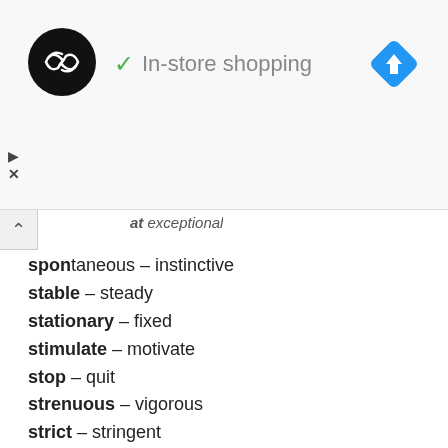[Figure (logo): Circular black logo with double arrow symbol (infinity-like arrows)]
✓ In-store shopping
[Figure (logo): Blue diamond-shaped navigation/directions icon with white arrow]
▷
X
at  exceptional
spontaneous – instinctive
stable – steady
stationary – fixed
stimulate – motivate
stop – quit
strenuous – vigorous
strict – stringent
strong – powerful
stupid – unintelligent
subsequent – following
successful – thriving
sufficient – ample
superb – magnificent